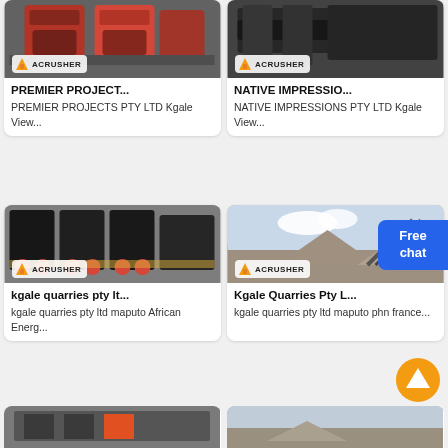[Figure (photo): Industrial crusher machines in a factory — ACRUSHER branded]
PREMIER PROJECT...
PREMIER PROJECTS PTY LTD Kgale View...
[Figure (photo): Large industrial equipment in a warehouse — ACRUSHER branded]
NATIVE IMPRESSIO...
NATIVE IMPRESSIONS PTY LTD Kgale View...
[Figure (photo): Multiple cone crusher machines with red wheels on a factory floor — ACRUSHER branded]
kgale quarries pty lt...
kgale quarries pty ltd maputo African Energ...
[Figure (photo): Quarry site with gravel mounds and conveyor belt — ACRUSHER branded]
Kgale Quarries Pty L...
kgale quarries pty ltd maputo phn france...
[Figure (photo): Industrial facility interior, partially visible]
[Figure (photo): Quarry or outdoor industrial site, partially visible]